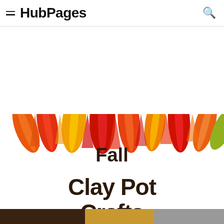HubPages
[Figure (illustration): Fall leaves (orange, yellow, red) arranged along the top edge of a banner image, with white background below showing the article title 'Fall Clay Pot Crafts' in bold dark text]
Fall Clay Pot Crafts
[Figure (photo): Bottom strip showing partial thumbnail images of craft projects]